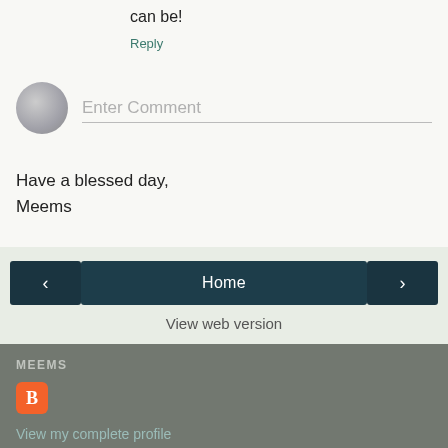can be!
Reply
[Figure (other): Comment input field with avatar icon and placeholder text 'Enter Comment']
Have a blessed day,
Meems
[Figure (other): Navigation bar with left arrow button, Home button, and right arrow button]
View web version
MEEMS
View my complete profile
Powered by Blogger.